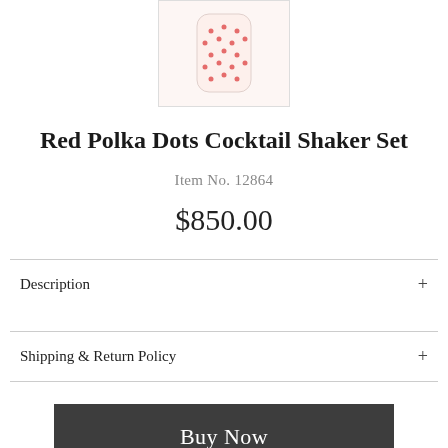[Figure (photo): Product photo of the Red Polka Dots Cocktail Shaker Set — a white ceramic shaker with small red polka dots, shown in a bordered thumbnail image]
Red Polka Dots Cocktail Shaker Set
Item No. 12864
$850.00
Description +
Shipping & Return Policy +
Buy Now